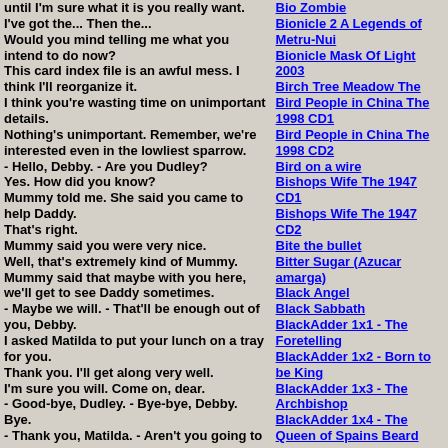until I'm sure what it is you really want.
I've got the... Then the...
Would you mind telling me what you intend to do now?
This card index file is an awful mess. I think I'll reorganize it.
I think you're wasting time on unimportant details.
Nothing's unimportant. Remember, we're interested even in the lowliest sparrow.
- Hello, Debby. - Are you Dudley?
Yes. How did you know?
Mummy told me. She said you came to help Daddy.
That's right.
Mummy said you were very nice.
Well, that's extremely kind of Mummy.
Mummy said that maybe with you here, we'll get to see Daddy sometimes.
- Maybe we will. - That'll be enough out of you, Debby.
I asked Matilda to put your lunch on a tray for you.
Thank you. I'll get along very well.
I'm sure you will. Come on, dear.
- Good-bye, Dudley. - Bye-bye, Debby.
Bye.
- Thank you, Matilda. - Aren't you going to wear
Bio Zombie
Bionicle 2 A Legends of Metru-Nui
Bionicle Mask Of Light 2003
Birch Tree Meadow The
Bird People in China The 1998 CD1
Bird People in China The 1998 CD2
Bird on a wire
Bishops Wife The 1947 CD1
Bishops Wife The 1947 CD2
Bite the bullet
Bitter Sugar (Azucar amarga)
Black Angel
Black Sabbath
BlackAdder 1x1 - The Foretelling
BlackAdder 1x2 - Born to be King
BlackAdder 1x3 - The Archbishop
BlackAdder 1x4 - The Queen of Spains Beard